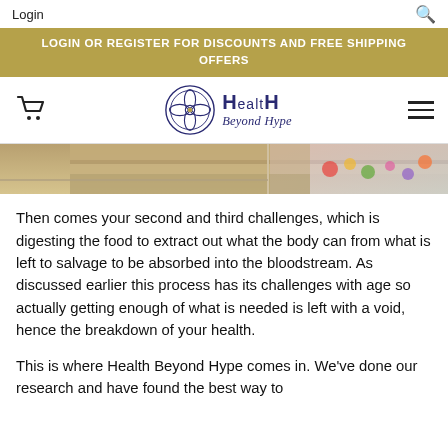Login
LOGIN OR REGISTER FOR DISCOUNTS AND FREE SHIPPING OFFERS
[Figure (logo): Health Beyond Hype logo with circular geometric emblem and stylized text]
[Figure (photo): Partial view of a grocery store produce/floral section from above]
Then comes your second and third challenges, which is digesting the food to extract out what the body can from what is left to salvage to be absorbed into the bloodstream.  As discussed earlier this process has its challenges with age so actually getting enough of what is needed is left with a void, hence the breakdown of your health.
This is where Health Beyond Hype comes in.  We've done our research and have found the best way to